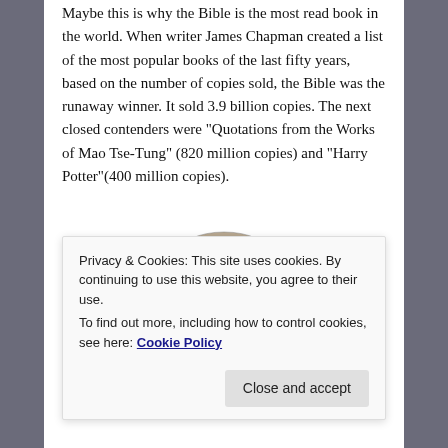Maybe this is why the Bible is the most read book in the world. When writer James Chapman created a list of the most popular books of the last fifty years, based on the number of copies sold, the Bible was the runaway winner. It sold 3.9 billion copies. The next closed contenders were “Quotations from the Works of Mao Tse-Tung” (820 million copies) and “Harry Potter”(400 million copies).
[Figure (illustration): Black and white engraved portrait of a historical figure, shown from shoulders up, with curly hair and period clothing.]
Privacy & Cookies: This site uses cookies. By continuing to use this website, you agree to their use.
To find out more, including how to control cookies, see here: Cookie Policy